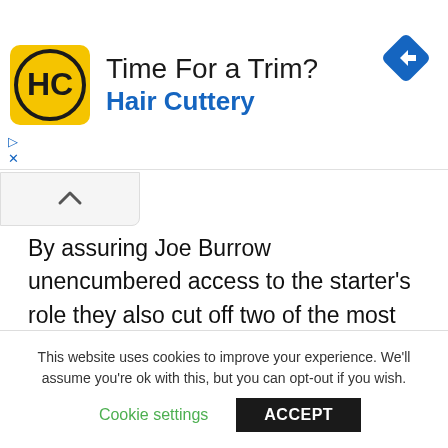[Figure (logo): Hair Cuttery advertisement banner with yellow HC logo, title 'Time For a Trim?', subtitle 'Hair Cuttery', and a blue navigation arrow icon]
By assuring Joe Burrow unencumbered access to the starter's role they also cut off two of the most valuable assets a rookie can have, knowledge, and time. Because while it makes some sense to remove the uncertainty for Burrow, there will be no one calling for Ryan Finley to start if Burrow struggles, Dalton would have been a great source of information, and would've helped him learn the
This website uses cookies to improve your experience. We'll assume you're ok with this, but you can opt-out if you wish.
Cookie settings    ACCEPT